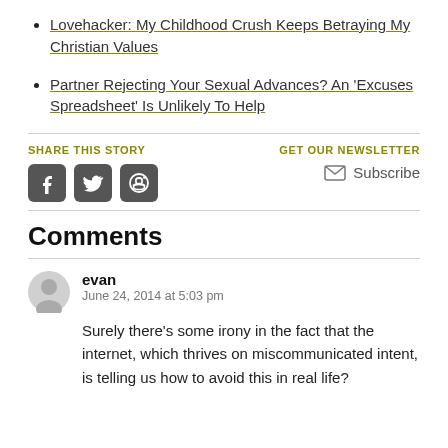Lovehacker: My Childhood Crush Keeps Betraying My Christian Values
Partner Rejecting Your Sexual Advances? An 'Excuses Spreadsheet' Is Unlikely To Help
SHARE THIS STORY
[Figure (other): Three social share icon buttons: Facebook, Twitter, Reddit in dark rounded squares]
GET OUR NEWSLETTER
Subscribe
Comments
[Figure (other): User avatar placeholder — grey circle with silhouette]
evan
June 24, 2014 at 5:03 pm
Surely there’s some irony in the fact that the internet, which thrives on miscommunicated intent, is telling us how to avoid this in real life?